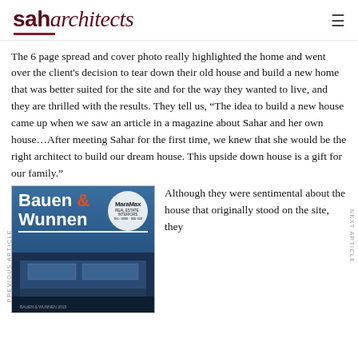sah architects
The 6 page spread and cover photo really highlighted the home and went over the client's decision to tear down their old house and build a new home that was better suited for the site and for the way they wanted to live, and they are thrilled with the results. They tell us, “The idea to build a new house came up when we saw an article in a magazine about Sahar and her own house…After meeting Sahar for the first time, we knew that she would be the right architect to build our dream house. This upside down house is a gift for our family.”
[Figure (photo): Cover of Bauen & Wunnen magazine showing a modern house at night with blue tones, featuring Maramax logo circle in top right corner]
Although they were sentimental about the house that originally stood on the site, they